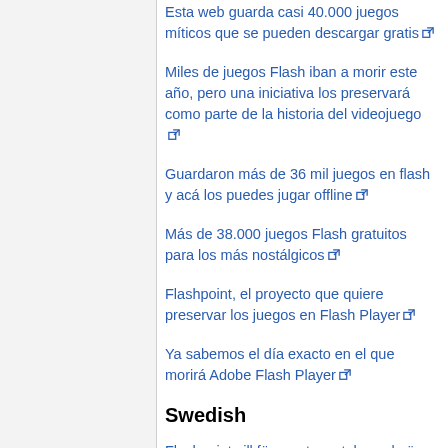Esta web guarda casi 40.000 juegos míticos que se pueden descargar gratis
Miles de juegos Flash iban a morir este año, pero una iniciativa los preservará como parte de la historia del videojuego
Guardaron más de 36 mil juegos en flash y acá los puedes jugar offline
Más de 38.000 juegos Flash gratuitos para los más nostálgicos
Flashpoint, el proyecto que quiere preservar los juegos en Flash Player
Ya sabemos el día exacto en el que morirá Adobe Flash Player
Swedish
Flashpoint vill förvara tusentals spel när Adobe Flash dör